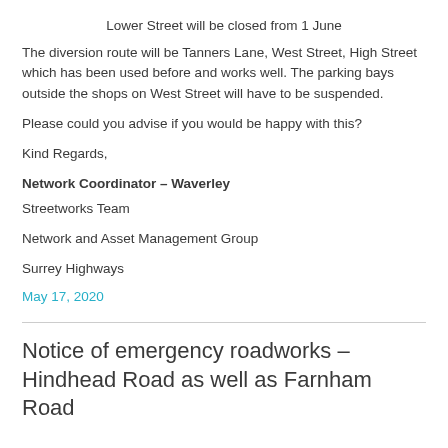Lower Street will be closed from 1 June
The diversion route will be Tanners Lane, West Street, High Street which has been used before and works well. The parking bays outside the shops on West Street will have to be suspended.
Please could you advise if you would be happy with this?
Kind Regards,
Network Coordinator – Waverley
Streetworks Team
Network and Asset Management Group
Surrey Highways
May 17, 2020
Notice of emergency roadworks – Hindhead Road as well as Farnham Road